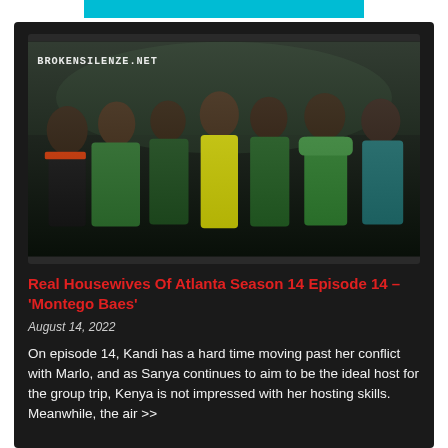[Figure (photo): Group photo of seven women dressed in green, yellow, and black outfits posing together outdoors at night. Watermark text 'BROKENSILENZE.NET' visible at top left.]
Real Housewives Of Atlanta Season 14 Episode 14 – 'Montego Baes'
August 14, 2022
On episode 14, Kandi has a hard time moving past her conflict with Marlo, and as Sanya continues to aim to be the ideal host for the group trip, Kenya is not impressed with her hosting skills. Meanwhile, the air >>